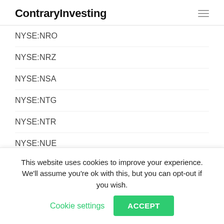ContraryInvesting
NYSE:NRO
NYSE:NRZ
NYSE:NSA
NYSE:NTG
NYSE:NTR
NYSE:NUE
NYSE:NUM
NYSE:NUO
NYSE:NUSI
This website uses cookies to improve your experience. We'll assume you're ok with this, but you can opt-out if you wish. Cookie settings ACCEPT